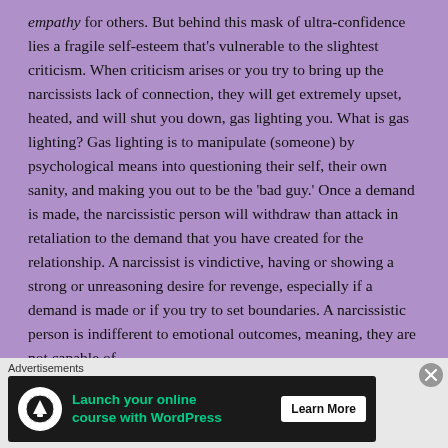empathy for others.  But behind this mask of ultra-confidence lies a fragile self-esteem that's vulnerable to the slightest criticism.  When criticism arises or you try to bring up the narcissists lack of connection, they will get extremely upset, heated, and will shut you down, gas lighting you.  What is gas lighting?  Gas lighting is to manipulate (someone) by psychological means into questioning their self, their own sanity, and making you out to be the 'bad guy.'  Once a demand is made, the narcissistic person will withdraw than attack in retaliation to the demand that you have created for the relationship.  A narcissist is vindictive, having or showing a strong or unreasoning desire for revenge, especially if a demand is made or if you try to set boundaries.  A narcissistic person is indifferent to emotional outcomes, meaning, they are not capable of
[Figure (infographic): Advertisement banner: 'Launch your online course with WordPress' with Learn More button on dark background]